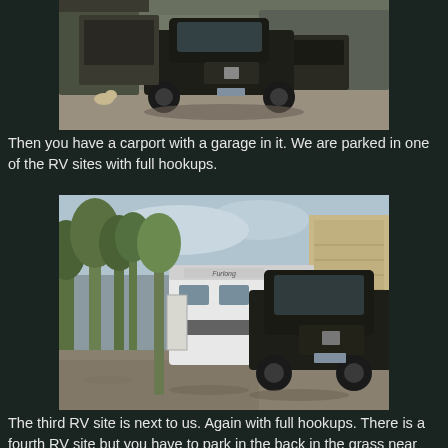[Figure (photo): A dark pickup truck (RAM) parked in a gravel lot with a carport/garage structure in the background. A small dog is visible near the left side. Other vehicles parked in the background.]
Then you have a carport with a garage in it. We are parked in one of the RV sites with full hookups.
[Figure (photo): An RV (fifth wheel trailer) hitched to a dark pickup truck parked at an RV site with gravel and trees in the background. A building with siding is visible on the right.]
The third RV site is next to us. Again with full hookups. There is a fourth RV site but you have to park in the back in the grass near the outdoor kitchen. Full hookups with that one also.